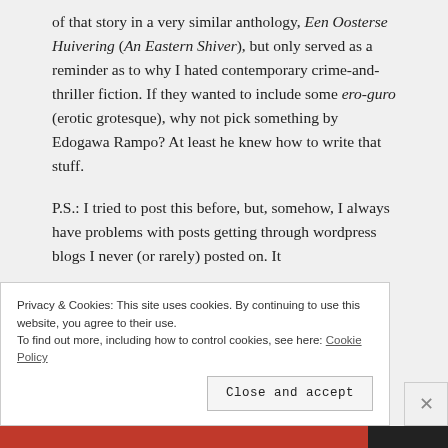of that story in a very similar anthology, Een Oosterse Huivering (An Eastern Shiver), but only served as a reminder as to why I hated contemporary crime-and-thriller fiction. If they wanted to include some ero-guro (erotic grotesque), why not pick something by Edogawa Rampo? At least he knew how to write that stuff.
P.S.: I tried to post this before, but, somehow, I always have problems with posts getting through wordpress blogs I never (or rarely) posted on. It
Privacy & Cookies: This site uses cookies. By continuing to use this website, you agree to their use.
To find out more, including how to control cookies, see here: Cookie Policy